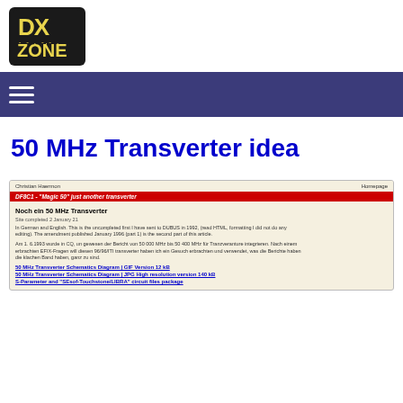DX ZONE logo
Navigation menu
50 MHz Transverter idea
[Figure (screenshot): Screenshot of a webpage titled 'Noch ein 50 MHz Transverter' by Christian Haermon, showing a red banner with 'DFBC1 - Magic 50 just another transverter', body text in German and English about a 50 MHz transverter article, and links to schematic diagrams and S-Parameter files.]